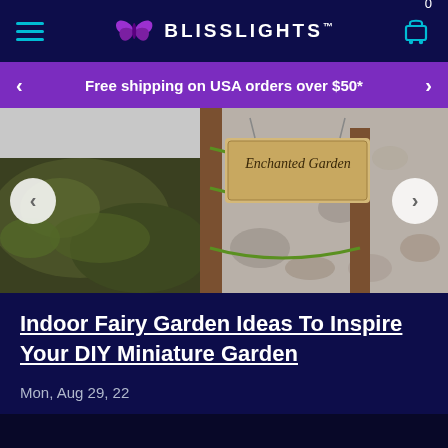0 | BLISSLIGHTS™ | navigation header with hamburger menu and cart icon
Free shipping on USA orders over $50*
[Figure (photo): Photo of a rustic wooden sign reading 'Enchanted Garden' hanging between two wooden posts with green twine, surrounded by moss-covered rocks and blurred pebbles in the background]
Indoor Fairy Garden Ideas To Inspire Your DIY Miniature Garden
Mon, Aug 29, 22